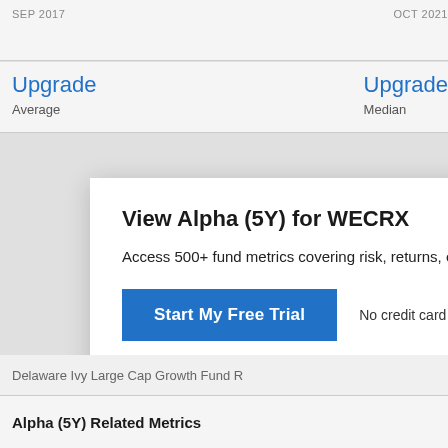SEP 2017
OCT 2021
Upgrade
Average
Upgrade
Median
View Alpha (5Y) for WECRX
Access 500+ fund metrics covering risk, returns, exposu
Start My Free Trial
No credit card required.
Already a subscriber? Sign in.
Delaware Ivy Large Cap Growth Fund R
Voya Large-Cap Growth R6
Alpha (5Y) Related Metrics